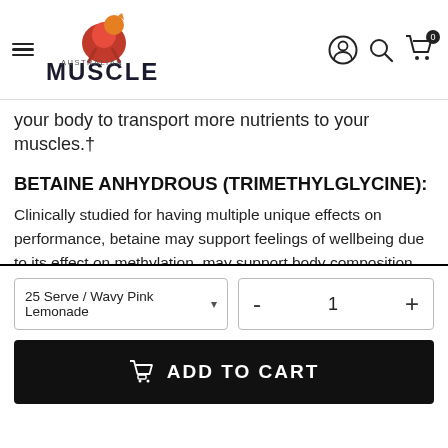Australian Muscle — navigation bar with hamburger menu, logo, account, search, and cart icons
your body to transport more nutrients to your muscles.†
BETAINE ANHYDROUS (TRIMETHYLGLYCINE):
Clinically studied for having multiple unique effects on performance, betaine may support feelings of wellbeing due to its effect on methylation, may support body composition changes due to its effect on energy pathways, and may also decrease homocysteine levels, a marker of oxidative stress. Betaine shoots to the top and proves itself efficacious by any
25 Serve / Wavy Pink Lemonade   -   1   +
ADD TO CART